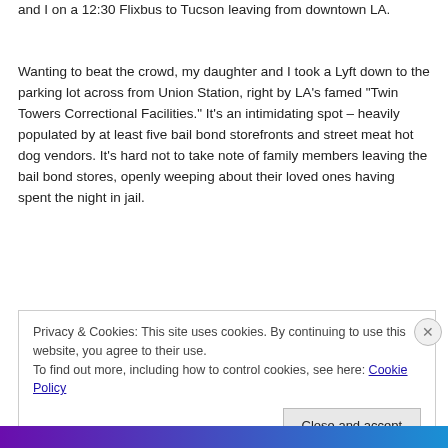and I on a 12:30 Flixbus to Tucson leaving from downtown LA.
Wanting to beat the crowd, my daughter and I took a Lyft down to the parking lot across from Union Station, right by LA's famed “Twin Towers Correctional Facilities.” It’s an intimidating spot – heavily populated by at least five bail bond storefronts and street meat hot dog vendors. It’s hard not to take note of family members leaving the bail bond stores, openly weeping about their loved ones having spent the night in jail.
Privacy & Cookies: This site uses cookies. By continuing to use this website, you agree to their use.
To find out more, including how to control cookies, see here: Cookie Policy